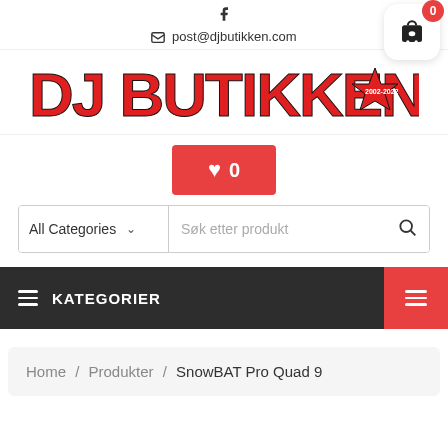post@djbutikken.com
[Figure (logo): DJ Butikken logo in red and black bold letters with a star]
♥ 0
All Categories | Søk etter produkt
≡ KATEGORIER
Home / Produkter / SnowBAT Pro Quad 9